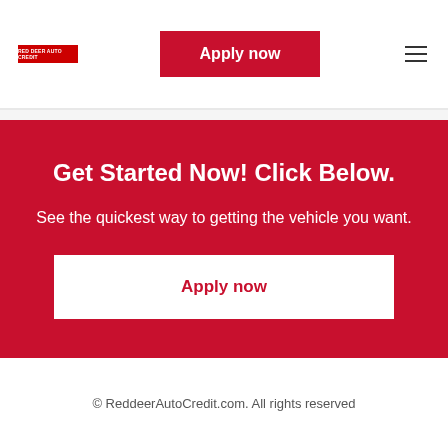RED DEER AUTO CREDIT | Apply now
Get Started Now! Click Below.
See the quickest way to getting the vehicle you want.
Apply now
© ReddeerAutoCredit.com. All rights reserved